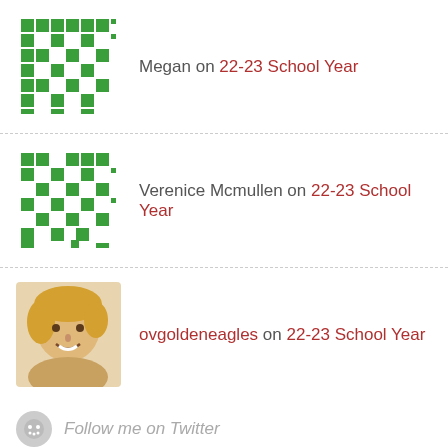Megan on 22-23 School Year
Verenice Mcmullen on 22-23 School Year
ovgoldeneagles on 22-23 School Year
Follow me on Twitter
Tweets from @CVESD_Olympic
CVESD_Ol... @CVESD_... · Aug 21
Make sure to read this weeks blog.
olympicviewgoldeneagles.org
instagram.com/p/Chh3TGrJVHB/...